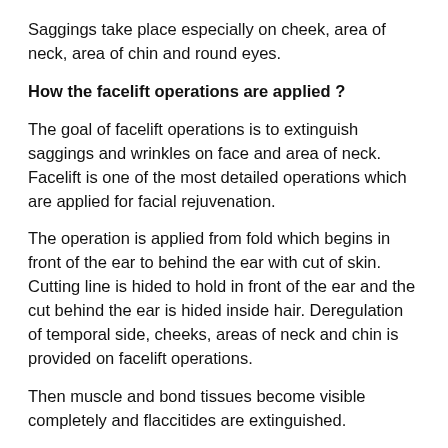Saggings take place especially on cheek, area of neck, area of chin and round eyes.
How the facelift operations are applied ?
The goal of facelift operations is to extinguish saggings and wrinkles on face and area of neck. Facelift is one of the most detailed operations which are applied for facial rejuvenation.
The operation is applied from fold which begins in front of the ear to behind the ear with cut of skin. Cutting line is hided to hold in front of the ear and the cut behind the ear is hided inside hair. Deregulation of temporal side, cheeks, areas of neck and chin is provided on facelift operations.
Then muscle and bond tissues become visible completely and flaccitides are extinguished.
Facelift operation is ended up with erecting skin on new place,